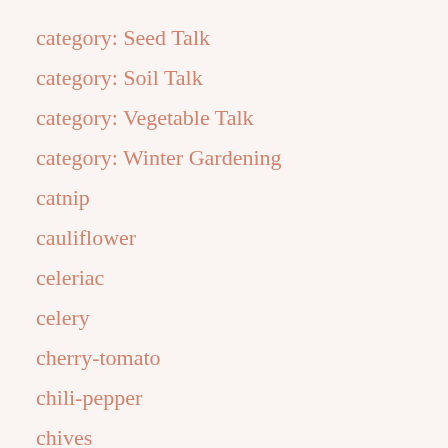category: Seed Talk
category: Soil Talk
category: Vegetable Talk
category: Winter Gardening
catnip
cauliflower
celeriac
celery
cherry-tomato
chili-pepper
chives
cilantro
Commit-to-Grow
community-supported-agriculture